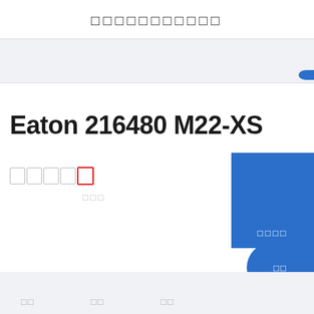□□□□□□□□□□□
Eaton 216480 M22-XS
□□□□□
□□□
□□□□
□□  □□  □□